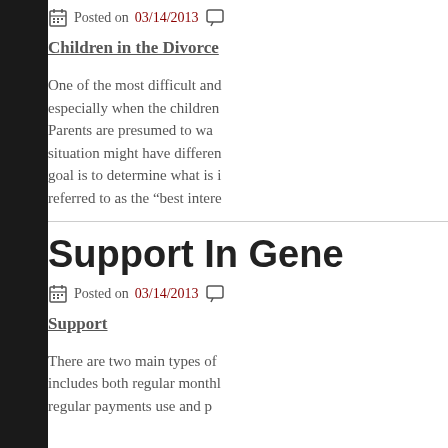Posted on 03/14/2013
Children in the Divorce
One of the most difficult and especially when the children Parents are presumed to wa situation might have differen goal is to determine what is i referred to as the “best intere
Support In Gene
Posted on 03/14/2013
Support
There are two main types of includes both regular monthl regular payments use and p